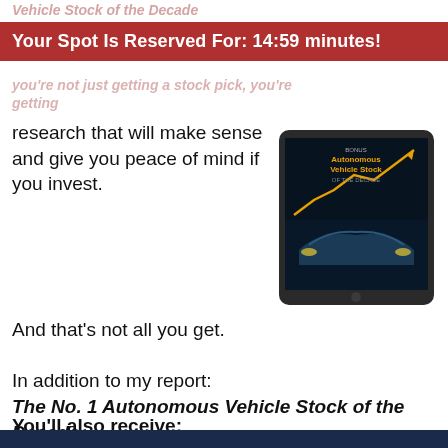Vehicle Stock of the Decade
Your Spot Is Reserved For: 14:59 minutes!
you're not just getting a stock pick, you're getting
research that will make sense and give you peace of mind if you invest.
[Figure (photo): Tablet device displaying book cover titled 'Autonomous Vehicle Stock of the Decade' with dark blue futuristic car imagery and gold/yellow title text]
And that's not all you get.
In addition to my report: The No. 1 Autonomous Vehicle Stock of the Decade…
You'll also receive: